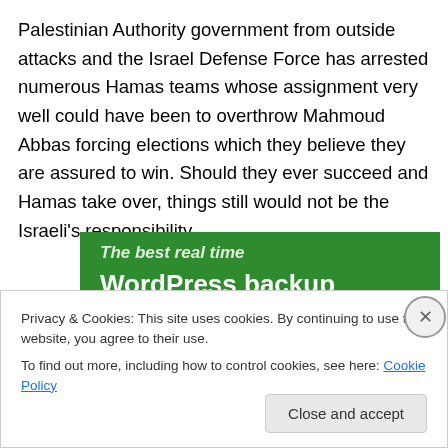Palestinian Authority government from outside attacks and the Israel Defense Force has arrested numerous Hamas teams whose assignment very well could have been to overthrow Mahmoud Abbas forcing elections which they believe they are assured to win. Should they ever succeed and Hamas take over, things still would not be the Israeli's responsibility.
[Figure (screenshot): Green advertisement banner for WordPress backup plugin showing text 'The best real time WordPress backup plugin']
Privacy & Cookies: This site uses cookies. By continuing to use this website, you agree to their use.
To find out more, including how to control cookies, see here: Cookie Policy
Close and accept